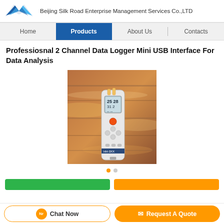Beijing Silk Road Enterprise Management Services Co.,LTD
Home | Products | About Us | Contacts
Professiosnal 2 Channel Data Logger Mini USB Interface For Data Analysis
[Figure (photo): Product photo of a handheld 2-channel data logger device with digital display, shown against a blurred industrial background with warm lighting.]
Chat Now | Request A Quote